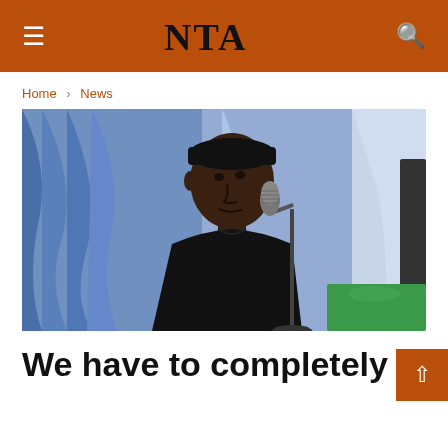NTA
Home > News
[Figure (photo): A man in a black cap and black attire speaking at a podium with a microphone, with blue drapes and a green surface visible in the background.]
We have to completely